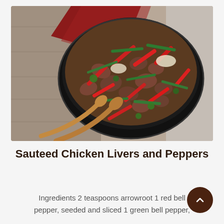[Figure (photo): Overhead view of a black bowl filled with sauteed chicken livers, red bell pepper strips, green beans, onions, and parsley, placed on a wooden table with a red cloth napkin and two wooden spoons beside the bowl.]
Sauteed Chicken Livers and Peppers
Ingredients 2 teaspoons arrowroot 1 red bell pepper, seeded and sliced 1 green bell pepper,